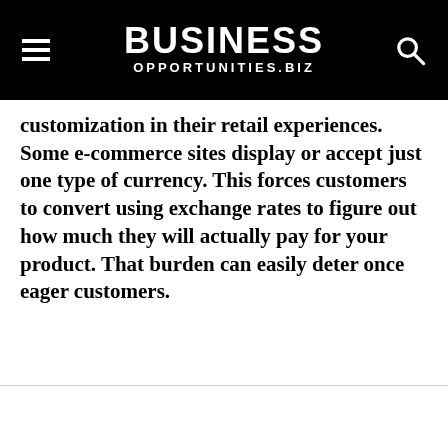BUSINESS OPPORTUNITIES.BIZ
customization in their retail experiences. Some e-commerce sites display or accept just one type of currency. This forces customers to convert using exchange rates to figure out how much they will actually pay for your product. That burden can easily deter once eager customers.